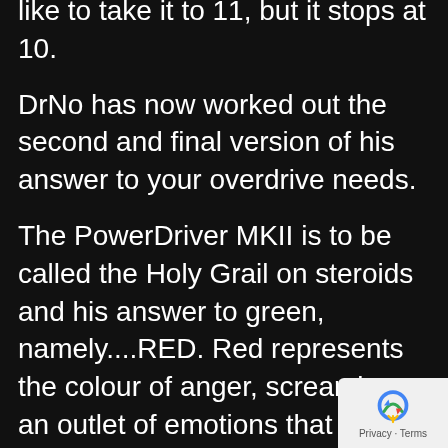like to take it to 11, but it stops at 10.
DrNo has now worked out the second and final version of his answer to your overdrive needs.
The PowerDriver MKII is to be called the Holy Grail on steroids and his answer to green, namely....RED. Red represents the colour of anger, screaming, an outlet of emotions that need to be set free in making music and Rock and Roll.
With its organic, warm overdrive this is a must have on your pedal-board.
Together with the original and rare to find ingredients the finesse of this pedal takes you beyond any other overdrive